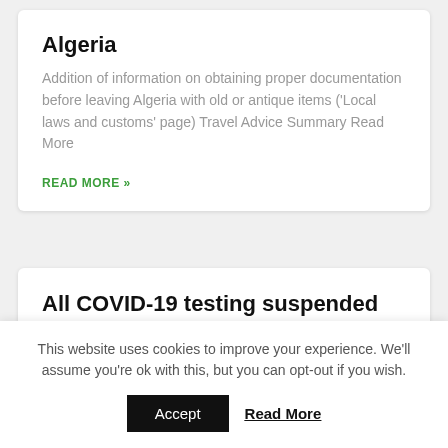Algeria
Addition of information on obtaining proper documentation before leaving Algeria with old or antique items (‘Local laws and customs’ page) Travel Advice Summary Read More
READ MORE »
All COVID-19 testing suspended for anyone entering the US – Lonely Planet
This website uses cookies to improve your experience. We’ll assume you’re ok with this, but you can opt-out if you wish.
Accept  Read More